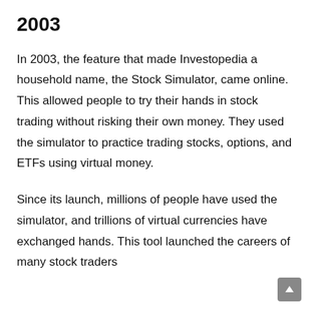2003
In 2003, the feature that made Investopedia a household name, the Stock Simulator, came online. This allowed people to try their hands in stock trading without risking their own money. They used the simulator to practice trading stocks, options, and ETFs using virtual money.
Since its launch, millions of people have used the simulator, and trillions of virtual currencies have exchanged hands. This tool launched the careers of many stock traders